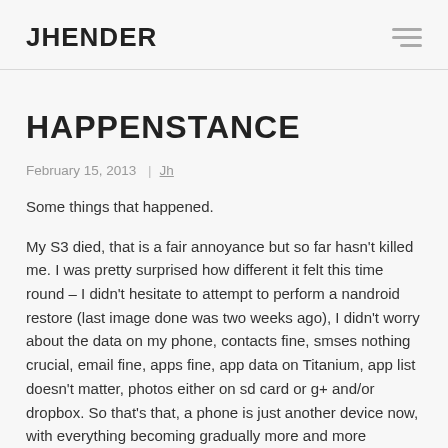JHENDER
HAPPENSTANCE
February 15, 2013  |  Jh
Some things that happened.
My S3 died, that is a fair annoyance but so far hasn't killed me. I was pretty surprised how different it felt this time round – I didn't hesitate to attempt to perform a nandroid restore (last image done was two weeks ago), I didn't worry about the data on my phone, contacts fine, smses nothing crucial, email fine, apps fine, app data on Titanium, app list doesn't matter, photos either on sd card or g+ and/or dropbox. So that's that, a phone is just another device now, with everything becoming gradually more and more portable,